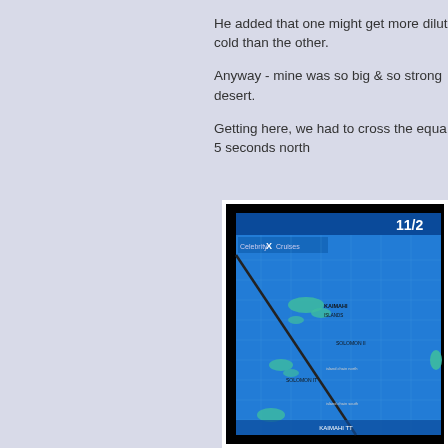He added that one might get more dilut... cold than the other.
Anyway - mine was so big & so strong ... desert.
Getting here, we had to cross the equa... 5 seconds north
[Figure (photo): A blue-tinted navigation/map screen showing Celebrity X Cruises display with a map of islands and ocean, showing coordinates near the equator.]